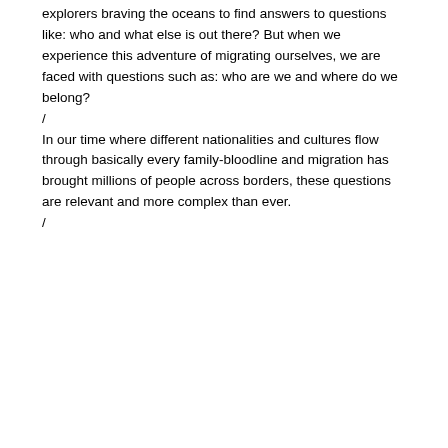explorers braving the oceans to find answers to questions like: who and what else is out there? But when we experience this adventure of migrating ourselves, we are faced with questions such as: who are we and where do we belong?
/
In our time where different nationalities and cultures flow through basically every family-bloodline and migration has brought millions of people across borders, these questions are relevant and more complex than ever.
/